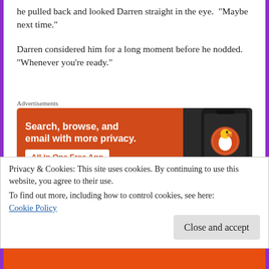he pulled back and looked Darren straight in the eye. “Maybe next time.”
Darren considered him for a long moment before he nodded. “Whenever you’re ready.”
Advertisements
[Figure (other): DuckDuckGo advertisement banner: orange background with white bold text 'Search, browse, and email with more privacy.' and a white button 'All in One Free App'. Right side shows a dark phone with DuckDuckGo duck logo.]
Another long moment of silence between them, then Austin bent and picked up his bag.  He took a deep, steadying breath.
Privacy & Cookies: This site uses cookies. By continuing to use this website, you agree to their use.
To find out more, including how to control cookies, see here: Cookie Policy
Close and accept